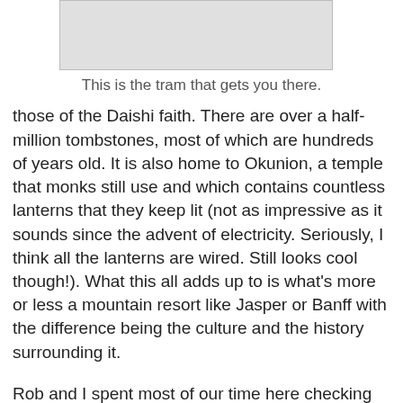[Figure (photo): Image of a tram (partially visible at top of page)]
This is the tram that gets you there.
those of the Daishi faith. There are over a half-million tombstones, most of which are hundreds of years old. It is also home to Okunion, a temple that monks still use and which contains countless lanterns that they keep lit (not as impressive as it sounds since the advent of electricity. Seriously, I think all the lanterns are wired. Still looks cool though!). What this all adds up to is what's more or less a mountain resort like Jasper or Banff with the difference being the culture and the history surrounding it.
Rob and I spent most of our time here checking out the huge graveyard. To me, it feels like you're travelling backwards in time straight to ancient Japan. The combination of the trees and tombstones make this a powerful place, and when you get to Okunion and see the monks, the temple, and people praying, you can almost feel the spiritualism. It's a very intense place to be.